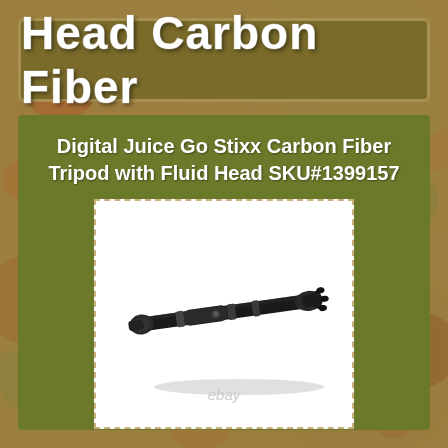Head Carbon Fiber
Digital Juice Go Stixx Carbon Fiber Tripod with Fluid Head SKU#1399157
[Figure (photo): A collapsed carbon fiber tripod with fluid head, lying horizontally against a white background. The tripod is black/dark grey, shown with legs folded and fluid head attached at one end. An eBay watermark is visible at the bottom.]